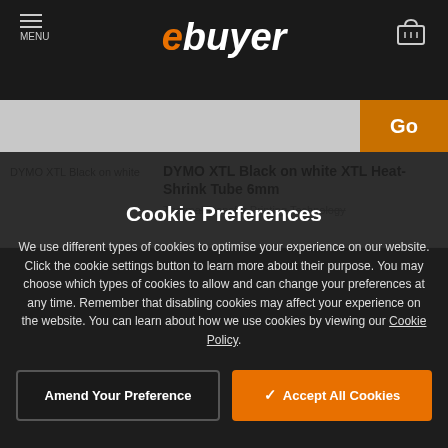ebuyer - MENU
[Figure (screenshot): ebuyer website navigation bar with menu icon, ebuyer logo, and cart icon]
[Figure (screenshot): Search bar with Go button]
DYMO XTL Black on white XTL Heat-Shrink Tube 6mm
Thermal Transfer Printing Technology
Cookie Preferences
We use different types of cookies to optimise your experience on our website. Click the cookie settings button to learn more about their purpose. You may choose which types of cookies to allow and can change your preferences at any time. Remember that disabling cookies may affect your experience on the website. You can learn about how we use cookies by viewing our Cookie Policy.
Amend Your Preference
Accept All Cookies